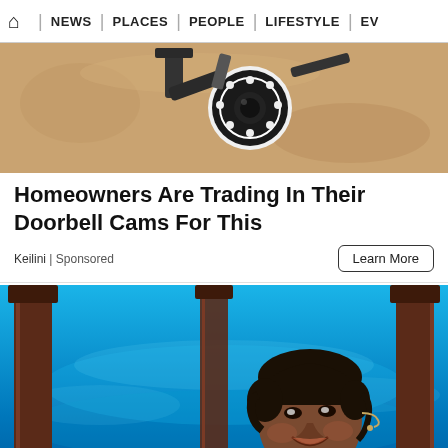HOME | NEWS | PLACES | PEOPLE | LIFESTYLE | EV...
[Figure (photo): Security camera mounted on a wall, white circular camera with LED ring, mounted on bracket against sandy/beige textured wall]
Homeowners Are Trading In Their Doorbell Cams For This
Keilini | Sponsored
Learn More
[Figure (photo): A person smiling on a stage with blue background, wearing dark clothing and a headset microphone, with decorative columns in the background]
TT | my | edu | HORSE RACING